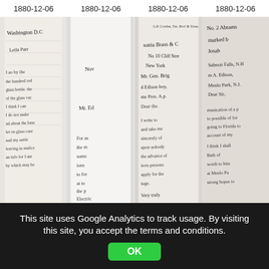1880-12-06  1880-12-06  1880-12-06  1880-12-06
[Figure (photo): Four columns of scanned historical handwritten manuscript letters dated 1880-12-06, showing cursive handwriting in black ink on aged paper. The documents appear to be correspondence mentioning Washington D.C., New York, Mr. Edison, Menlo Park, and other 19th century references. The images are arranged side by side as vertical strips.]
This site uses Google Analytics to track usage. By visiting this site, you accept the terms and conditions.
OK